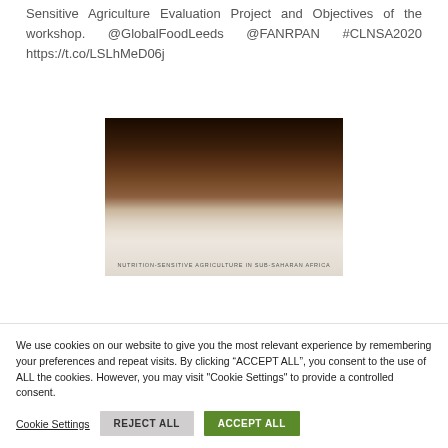Sensitive Agriculture Evaluation Project and Objectives of the workshop. @GlobalFoodLeeds @FANRPAN #CLNSA2020 https://t.co/LSLhMeD06j
[Figure (photo): A photograph showing a book or document cover with text 'NUTRITION-SENSITIVE AGRICULTURE IN SUB-SAHARAN AFRICA' visible at the bottom. The image has a dark brown and tan color palette.]
We use cookies on our website to give you the most relevant experience by remembering your preferences and repeat visits. By clicking "ACCEPT ALL", you consent to the use of ALL the cookies. However, you may visit "Cookie Settings" to provide a controlled consent.